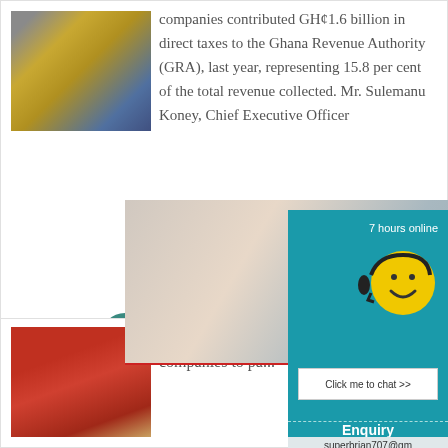[Figure (photo): Yellow industrial machinery (crusher/grinder) on blue legs]
companies contributed GH¢1.6 billion in direct taxes to the Ghana Revenue Authority (GRA), last year, representing 15.8 per cent of the total revenue collected. Mr. Sulemanu Koney, Chief Executive Officer
[Figure (infographic): Live chat overlay with smiling woman in yellow hard hat and colleagues; LIVE CHAT text in red; Click for a Free Consultation; Chat now and Chat later buttons; teal panel with smiley face headset icon; 7 hours online; Click me to chat >>; Enquiry; superbrian707@gm...]
More
[Figure (photo): Red industrial/mining equipment]
Failure of six m... companies to pa...